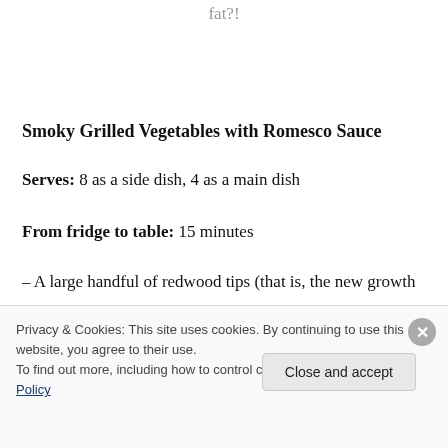fat?!
Smoky Grilled Vegetables with Romesco Sauce
Serves: 8 as a side dish, 4 as a main dish
From fridge to table: 15 minutes
– A large handful of redwood tips (that is, the new growth
Privacy & Cookies: This site uses cookies. By continuing to use this website, you agree to their use.
To find out more, including how to control cookies, see here: Cookie Policy
Close and accept